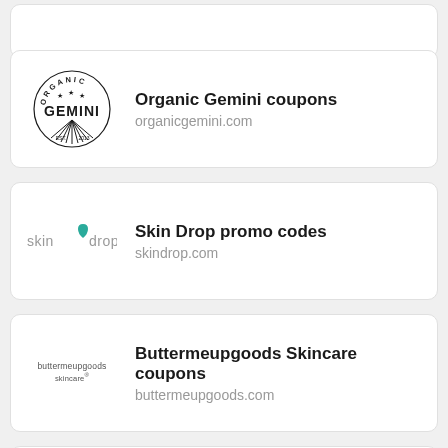[Figure (logo): Partial card visible at top of page]
[Figure (logo): Organic Gemini circular badge logo with rays]
Organic Gemini coupons
organicgemini.com
[Figure (logo): Skin Drop logo with teal water drop]
Skin Drop promo codes
skindrop.com
[Figure (logo): buttermeupgoods skincare text logo]
Buttermeupgoods Skincare coupons
buttermeupgoods.com
[Figure (logo): teeez text logo in gray box]
teeezcosmetics coupons
teeezcosmetics.com